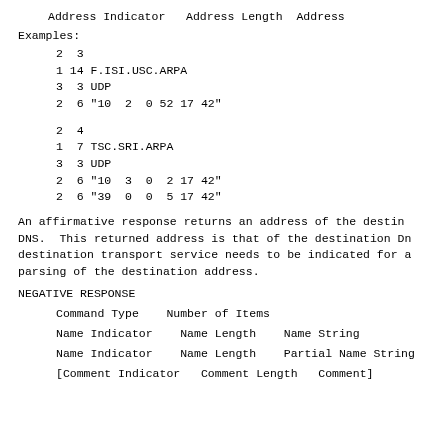Address Indicator   Address Length  Address
Examples:
2  3
1 14 F.ISI.USC.ARPA
3  3 UDP
2  6 "10  2  0 52 17 42"
2  4
1  7 TSC.SRI.ARPA
3  3 UDP
2  6 "10  3  0  2 17 42"
2  6 "39  0  0  5 17 42"
An affirmative response returns an address of the desti
DNS.  This returned address is that of the destination D
destination transport service needs to be indicated for 
parsing of the destination address.
NEGATIVE RESPONSE
Command Type    Number of Items
Name Indicator    Name Length    Name String
Name Indicator    Name Length    Partial Name String
[Comment Indicator   Comment Length   Comment]